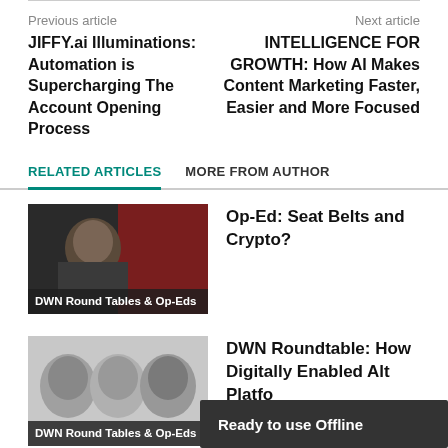Previous article
Next article
JIFFY.ai Illuminations: Automation is Supercharging The Account Opening Process
INTELLIGENCE FOR GROWTH: How AI Makes Content Marketing Faster, Easier and More Focused
RELATED ARTICLES
MORE FROM AUTHOR
[Figure (photo): Thumbnail image for article about Seat Belts and Crypto, showing a person and a red background with DWN Round Tables & Op-Eds label]
Op-Ed: Seat Belts and Crypto?
[Figure (photo): Thumbnail image for DWN Roundtable article showing multiple faces/portraits with DWN Round Tables & Op-Eds label]
DWN Roundtable: How Digitally Enabled Alt Platforms Survive this Bear Market
Ready to use Offline